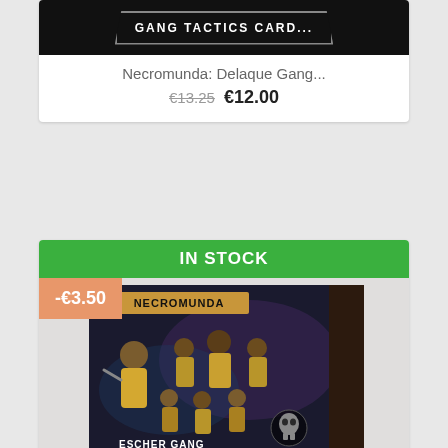[Figure (photo): Partial product card showing Gang Tactics card game box image at top]
Necromunda: Delaque Gang...
€13.25 €12.00
IN STOCK
-€3.50
[Figure (photo): Necromunda: Escher Gang miniatures box art showing female fighter miniatures and ESCHER GANG text]
Necromunda: Escher Gang
€37.00 €33.50